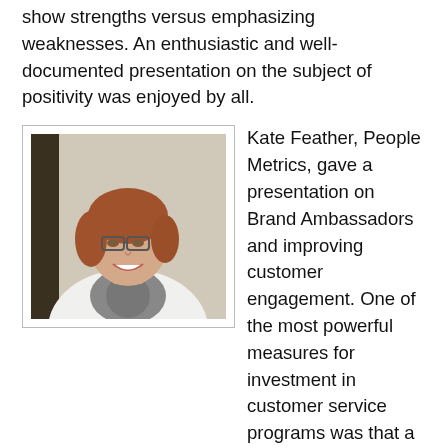show strengths versus emphasizing weaknesses. An enthusiastic and well-documented presentation on the subject of positivity was enjoyed by all.
[Figure (photo): Photo of Kate Feather, a woman with glasses and short reddish-brown hair, wearing a white jacket and grey scarf, smiling, in front of a neutral background.]
Kate Feather, People Metrics, gave a presentation on Brand Ambassadors and improving customer engagement. One of the most powerful measures for investment in customer service programs was that a 5 point increase in customer engagement could improve average stock price by as much as 26% while a 5 point decrease caused stock performance to be below the industry average. Julie Broderick of Signature Flight Support gave a case study of their Voice of the Customer Feedback Program. The program includes action alerts and accountability that maintains momentum.
The final morning speaker was Randall Brandt of Maritz. He shared about setting the bar for customer satisfaction by determining and evaluating the goal whether judgement, benchmarking, or linkage based targets are used. The